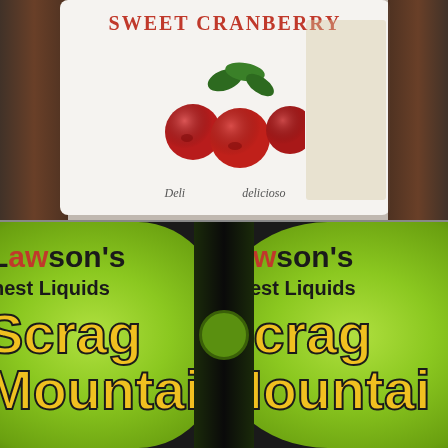[Figure (photo): Close-up photo of a bottle label reading SWEET CRANBERRY in red letters with an illustration of red cranberries on a white label, dark bottle sides visible.]
[Figure (photo): Photo of two Lawson's Finest Liquids bright green cans side by side, each labeled Scrag Mountain in large yellow letters, with a dark bottle in the center background.]